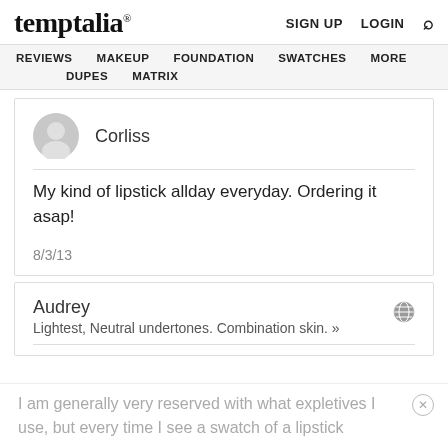temptalia® | SIGN UP | LOGIN | Search
REVIEWS | MAKEUP | FOUNDATION | SWATCHES | MORE | DUPES | MATRIX
Corliss
My kind of lipstick allday everyday. Ordering it asap!
8/3/13
Audrey
Lightest, Neutral undertones. Combination skin. »
I am generally very reserved with what expletives I use, but every time I see a swatch of a lipstick